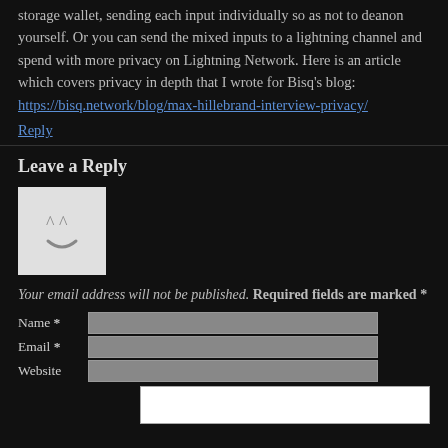storage wallet, sending each input individually so as not to deanon yourself. Or you can send the mixed inputs to a lightning channel and spend with more privacy on Lightning Network. Here is an article which covers privacy in depth that I wrote for Bisq's blog: https://bisq.network/blog/max-hillebrand-interview-privacy/
Reply
Leave a Reply
[Figure (illustration): Gray square avatar placeholder with a smiley face icon]
Your email address will not be published. Required fields are marked *
Name *  [input field]
Email *  [input field]
Website  [input field]
[textarea for comment]